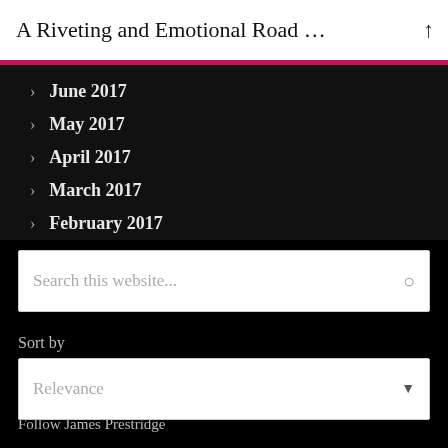A Riveting and Emotional Road …
June 2017
May 2017
April 2017
March 2017
February 2017
Search this website...
Sort by
Relevance
Follow James Prestridge